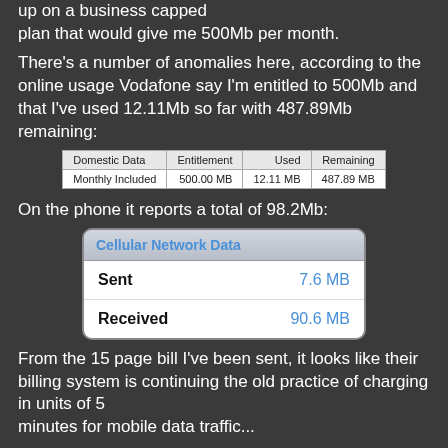up on a business capped plan that would give me 500Mb per month.
There's a number of anomalies here, according to the online usage Vodafone say I'm entitled to 500Mb and that I've used 12.11Mb so far with 487.89Mb remaining:
| Domestic Data | Entitlement | Used | Remaining |
| --- | --- | --- | --- |
| Monthly Included | 500.00 MB | 12.11 MB | 487.89 MB |
On the phone it reports a total of 98.2Mb:
[Figure (screenshot): iPhone Cellular Network Data screen showing Sent: 7.6 MB and Received: 90.6 MB]
From the 15 page bill I've been sent, it looks like their billing system is continuing the old practice of charging in units of 5 minutes for mobile data traffic...